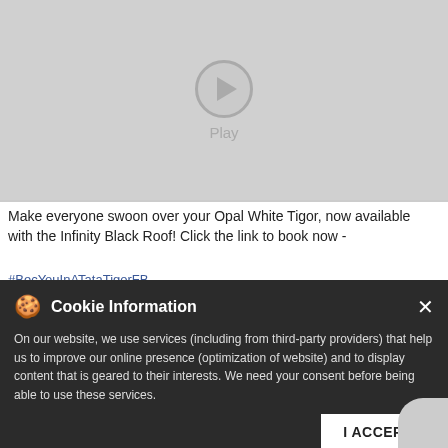[Figure (screenshot): Video placeholder with gray background, play button circle and 'Play' label]
Make everyone swoon over your Opal White Tigor, now available with the Infinity Black Roof! Click the link to book now -
#BecYouInATataTigorFB
#TheSedanForTheStars #Tigor #TataTigor #Sedan
#LoveRevving #NewLaunch #TataMottors #PassengerVehicles
#TheSedanForTheStars
#BBI
#TataTigor
#Sedan
Cookie Information
On our website, we use services (including from third-party providers) that help us to improve our online presence (optimization of website) and to display content that is geared to their interests. We need your consent before being able to use these services.
I ACCEPT